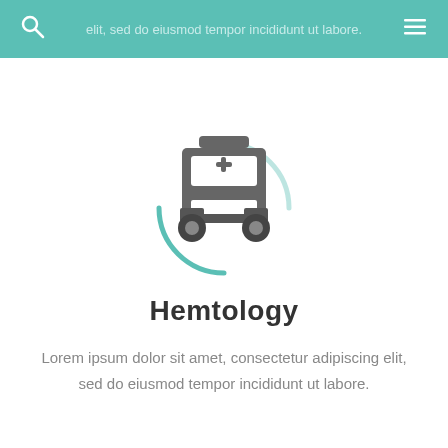elit, sed do eiusmod tempor incididunt ut labore.
[Figure (illustration): Front-view ambulance truck icon in dark gray, with a teal circular loading/spinner arc behind it]
Hemtology
Lorem ipsum dolor sit amet, consectetur adipiscing elit, sed do eiusmod tempor incididunt ut labore.